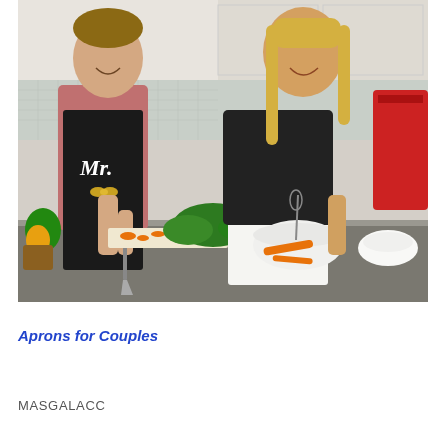[Figure (photo): A couple cooking together in a kitchen. The man wears a black apron with 'Mr.' written on it and a gold bow tie graphic. The woman wears a white apron with 'Mrs.' written on it. They are preparing vegetables at a kitchen counter with carrots, a red pepper, and fresh herbs. Kitchen appliances visible in background.]
Aprons for Couples
MASGALACC